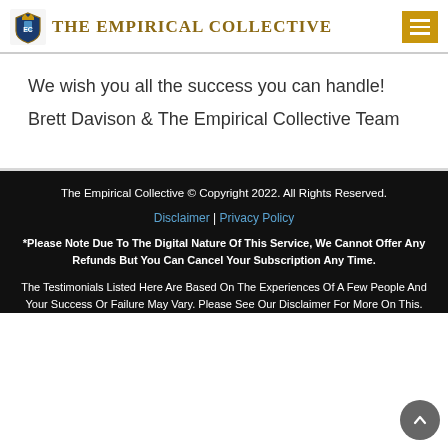THE EMPIRICAL COLLECTIVE
We wish you all the success you can handle!
Brett Davison & The Empirical Collective Team
The Empirical Collective © Copyright 2022. All Rights Reserved.
Disclaimer | Privacy Policy
*Please Note Due To The Digital Nature Of This Service, We Cannot Offer Any Refunds But You Can Cancel Your Subscription Any Time.
The Testimonials Listed Here Are Based On The Experiences Of A Few People And Your Success Or Failure May Vary. Please See Our Disclaimer For More On This.